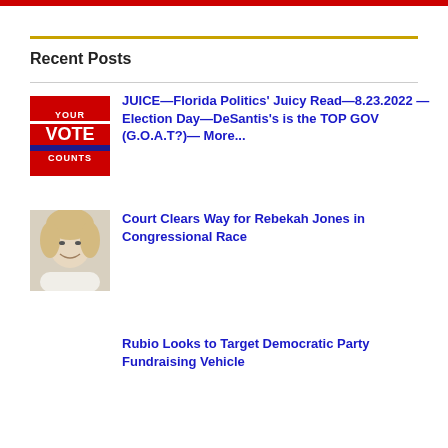Recent Posts
JUICE—Florida Politics' Juicy Read—8.23.2022 — Election Day—DeSantis's is the TOP GOV (G.O.A.T?)— More...
Court Clears Way for Rebekah Jones in Congressional Race
Rubio Looks to Target Democratic Party Fundraising Vehicle